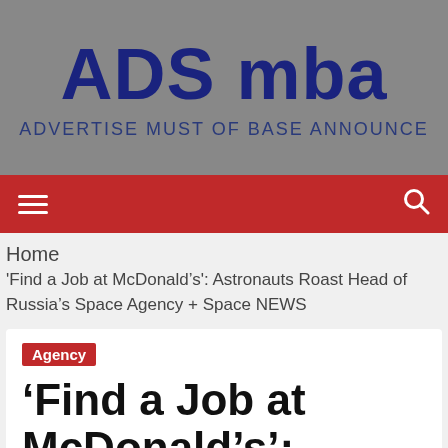ADS mba
ADVERTISE MUST OF BASE ANNOUNCE
Home
'Find a Job at McDonald’s': Astronauts Roast Head of Russia’s Space Agency + Space NEWS
Agency
‘Find a Job at McDonald’s’: